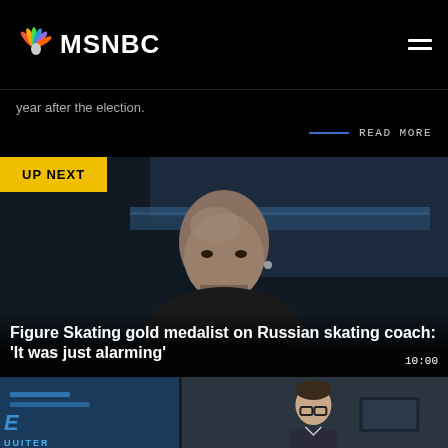MSNBC
year after the election.
READ MORE
Figure Skating gold medalist on Russian skating coach: 'It was just alarming'
[Figure (screenshot): Video thumbnail showing a bald man in a dark studio setting with 'UP NEXT' badge and timestamp 10:00]
[Figure (screenshot): Second video thumbnail showing a man with glasses in a news studio]